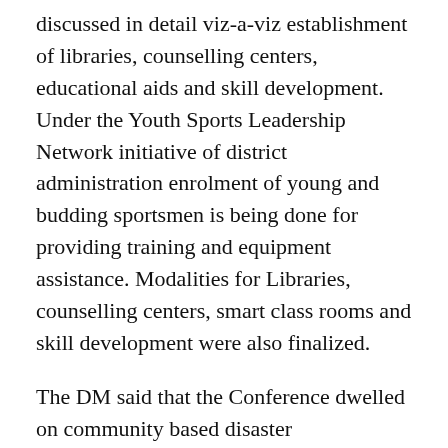discussed in detail viz-a-viz establishment of libraries, counselling centers, educational aids and skill development. Under the Youth Sports Leadership Network initiative of district administration enrolment of young and budding sportsmen is being done for providing training and equipment assistance. Modalities for Libraries, counselling centers, smart class rooms and skill development were also finalized.
The DM said that the Conference dwelled on community based disaster preparedness and response system about which it was decided that Army and CAPF will provide training to volunteers in vulnerable areas while district administration will provide material and equipment support to prepare the community as first line of defense in natural disasters for minimizing losses. Prompt relief,